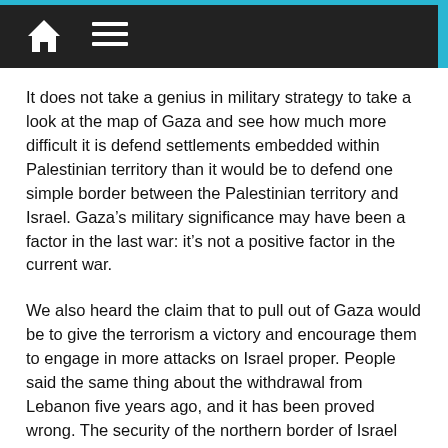Home | Menu
It does not take a genius in military strategy to take a look at the map of Gaza and see how much more difficult it is defend settlements embedded within Palestinian territory than it would be to defend one simple border between the Palestinian territory and Israel. Gaza’s military significance may have been a factor in the last war: it’s not a positive factor in the current war.
We also heard the claim that to pull out of Gaza would be to give the terrorism a victory and encourage them to engage in more attacks on Israel proper. People said the same thing about the withdrawal from Lebanon five years ago, and it has been proved wrong. The security of the northern border of Israel has not suffered as a result of the withdrawal from Lebanon and the number of soldiers killed along that border has dropped to a fraction of what it once was. The same will be proved...